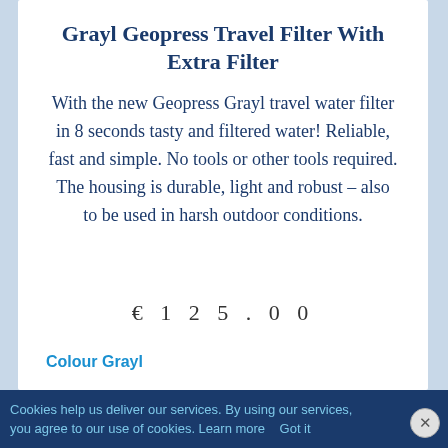Grayl Geopress Travel Filter With Extra Filter
With the new Geopress Grayl travel water filter in 8 seconds tasty and filtered water! Reliable, fast and simple. No tools or other tools required. The housing is durable, light and robust – also to be used in harsh outdoor conditions.
€ 1 2 5 . 0 0
Colour Grayl
Cookies help us deliver our services. By using our services, you agree to our use of cookies. Learn more Got it